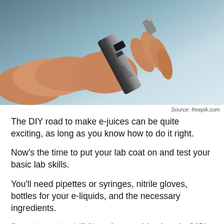[Figure (photo): A hand holding a vape/e-cigarette mod device against a grey-blue gradient background]
Source: freepik.com
The DIY road to make e-juices can be quite exciting, as long as you know how to do it right.
Now's the time to put your lab coat on and test your basic lab skills.
You'll need pipettes or syringes, nitrile gloves, bottles for your e-liquids, and the necessary ingredients.
Propylene glycol (PG) and vegetable glycerin (VG) are key